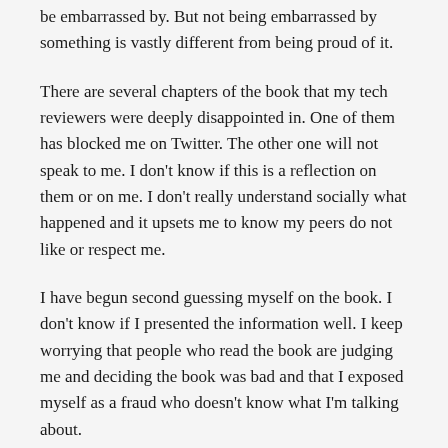be embarrassed by. But not being embarrassed by something is vastly different from being proud of it.
There are several chapters of the book that my tech reviewers were deeply disappointed in. One of them has blocked me on Twitter. The other one will not speak to me. I don't know if this is a reflection on them or on me. I don't really understand socially what happened and it upsets me to know my peers do not like or respect me.
I have begun second guessing myself on the book. I don't know if I presented the information well. I keep worrying that people who read the book are judging me and deciding the book was bad and that I exposed myself as a fraud who doesn't know what I'm talking about.
I finally began reading through the book the Wenderlich's published on Metal after having to get over my fears of it being far better than the one I had done. I think it is better...